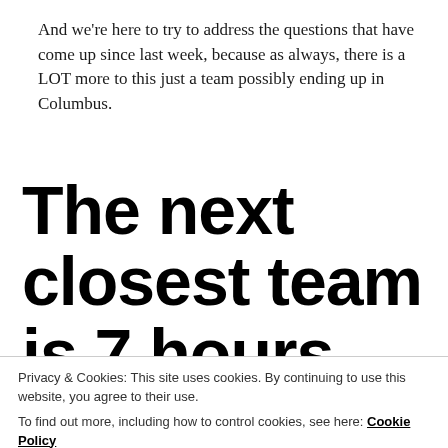And we're here to try to address the questions that have come up since last week, because as always, there is a LOT more to this just a team possibly ending up in Columbus.
The next closest team is 7 hours away, why would the FHL want a team in
Privacy & Cookies: This site uses cookies. By continuing to use this website, you agree to their use.
To find out more, including how to control cookies, see here: Cookie Policy
Close and accept
To answer this question we have to back to last year and the offers made by the FHL...